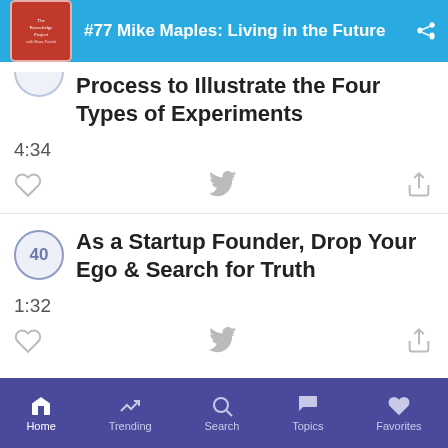#77 Mike Maples: Living in the Future
Process to Illustrate the Four Types of Experiments
4:34
40 As a Startup Founder, Drop Your Ego & Search for Truth
1:32
Home  Trending  Search  Topics  Favorites